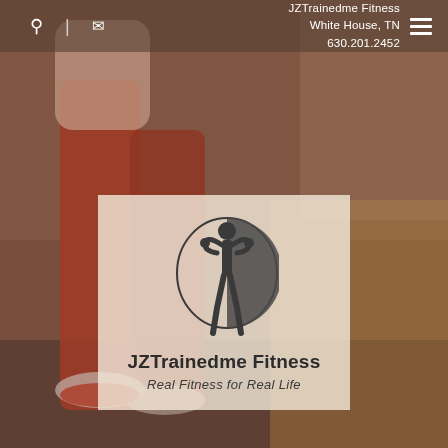[Figure (photo): Background photo of a person running outdoors wearing red leggings and white sneakers, with a warm orange/red color overlay.]
JZTrainedme Fitness
White House, TN
630.201.2452
[Figure (logo): JZTrainedme Fitness logo: a circular emblem with a dark silhouette of a person flexing, inside a circle outline.]
JZTrainedme Fitness
Real Fitness for Real Life